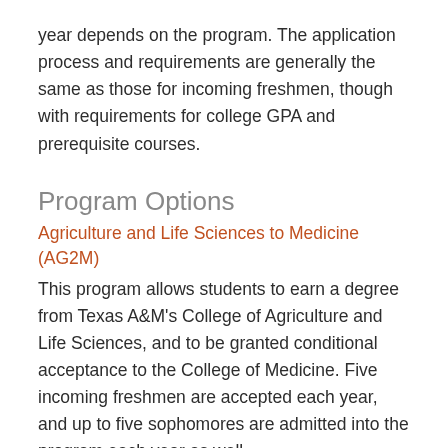year depends on the program. The application process and requirements are generally the same as those for incoming freshmen, though with requirements for college GPA and prerequisite courses.
Program Options
Agriculture and Life Sciences to Medicine (AG2M)
This program allows students to earn a degree from Texas A&M's College of Agriculture and Life Sciences, and to be granted conditional acceptance to the College of Medicine. Five incoming freshmen are accepted each year, and up to five sophomores are admitted into the program each year as well.